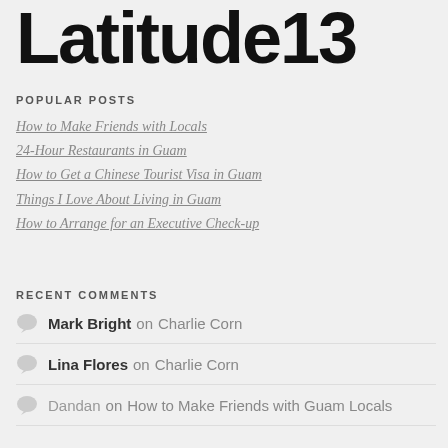Latitude13
POPULAR POSTS
How to Make Friends with Locals
24-Hour Restaurants in Guam
How to Get a Chinese Tourist Visa in Guam
Things I Love About Living in Guam
How to Arrange for an Executive Check-up
RECENT COMMENTS
Mark Bright on Charlie Corn
Lina Flores on Charlie Corn
Dandan on How to Make Friends with Guam Locals